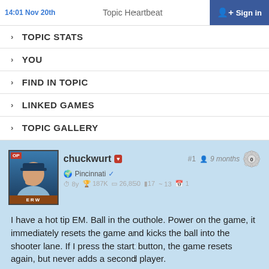14:01 Nov 20th   Topic Heartbeat   Sign in
> TOPIC STATS
> YOU
> FIND IN TOPIC
> LINKED GAMES
> TOPIC GALLERY
chuckwurt #1 9 months 0
Pincinnati
8y 187K 26,850 17 13 1

I have a hot tip EM. Ball in the outhole. Power on the game, it immediately resets the game and kicks the ball into the shooter lane. If I press the start button, the game resets again, but never adds a second player.

Any ideas?

Thanks!

Erik